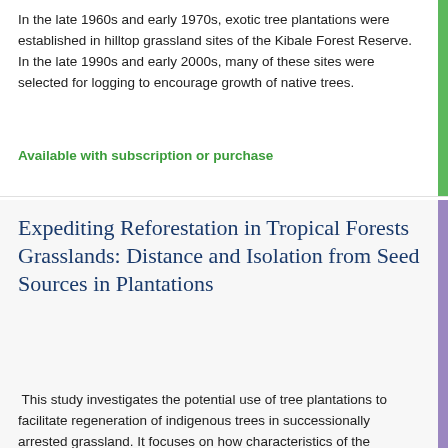In the late 1960s and early 1970s, exotic tree plantations were established in hilltop grassland sites of the Kibale Forest Reserve. In the late 1990s and early 2000s, many of these sites were selected for logging to encourage growth of native trees.
Available with subscription or purchase
Expediting Reforestation in Tropical Forests Grasslands: Distance and Isolation from Seed Sources in Plantations
This study investigates the potential use of tree plantations to facilitate regeneration of indigenous trees in successionally arrested grassland. It focuses on how characteristics of the plantations and native species can determine the type of regeneration occurring in Kibale National Park, Uganda.